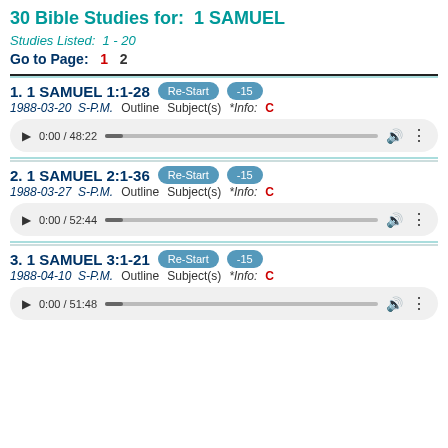30 Bible Studies for:  1 SAMUEL
Studies Listed:  1 - 20
Go to Page:   1   2
1. 1 SAMUEL 1:1-28   Re-Start   -15
1988-03-20  S-P.M.   Outline  Subject(s)  *Info:  C
[Figure (other): Audio player showing 0:00 / 48:22]
2. 1 SAMUEL 2:1-36   Re-Start   -15
1988-03-27  S-P.M.   Outline  Subject(s)  *Info:  C
[Figure (other): Audio player showing 0:00 / 52:44]
3. 1 SAMUEL 3:1-21   Re-Start   -15
1988-04-10  S-P.M.   Outline  Subject(s)  *Info:  C
[Figure (other): Audio player showing 0:00 / 51:48]